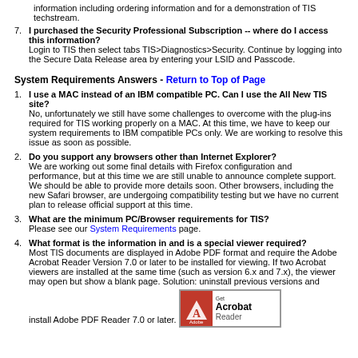information including ordering information and for a demonstration of TIS techstream.
7. I purchased the Security Professional Subscription -- where do I access this information? Login to TIS then select tabs TIS>Diagnostics>Security. Continue by logging into the Secure Data Release area by entering your LSID and Passcode.
System Requirements Answers - Return to Top of Page
1. I use a MAC instead of an IBM compatible PC. Can I use the All New TIS site? No, unfortunately we still have some challenges to overcome with the plug-ins required for TIS working properly on a MAC. At this time, we have to keep our system requirements to IBM compatible PCs only. We are working to resolve this issue as soon as possible.
2. Do you support any browsers other than Internet Explorer? We are working out some final details with Firefox configuration and performance, but at this time we are still unable to announce complete support. We should be able to provide more details soon. Other browsers, including the new Safari browser, are undergoing compatibility testing but we have no current plan to release official support at this time.
3. What are the minimum PC/Browser requirements for TIS? Please see our System Requirements page.
4. What format is the information in and is a special viewer required? Most TIS documents are displayed in Adobe PDF format and require the Adobe Acrobat Reader Version 7.0 or later to be installed for viewing. If two Acrobat viewers are installed at the same time (such as version 6.x and 7.x), the viewer may open but show a blank page. Solution: uninstall previous versions and install Adobe PDF Reader 7.0 or later.
[Figure (logo): Adobe Get Acrobat Reader logo badge with red Adobe A icon on the left and 'Get Acrobat Reader' text on the right]